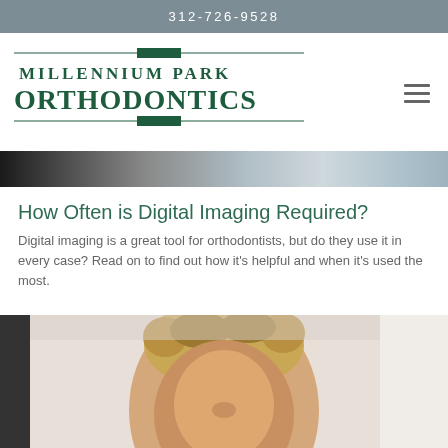312-726-9528
[Figure (logo): Millennium Park Orthodontics logo with decorative horizontal lines and green text]
[Figure (photo): Partial banner photo showing orthodontic clinic scene with blurred background]
How Often is Digital Imaging Required?
Digital imaging is a great tool for orthodontists, but do they use it in every case? Read on to find out how it's helpful and when it's used the most.
[Figure (photo): Close-up photo of a child/young person with hair pulled back, looking down, in a clinical setting]